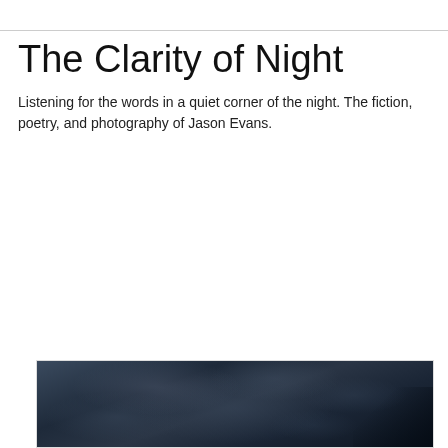The Clarity of Night
Listening for the words in a quiet corner of the night. The fiction, poetry, and photography of Jason Evans.
Tuesday, August 29, 2006
"Lonely Moon" Short Fiction Contest (Featuring Anne Frasier, Author of Pale Immortal)
[Figure (photo): Dark night sky photograph showing cloud formations against a deep blue-black sky, with a dark silhouette visible in the lower right corner.]